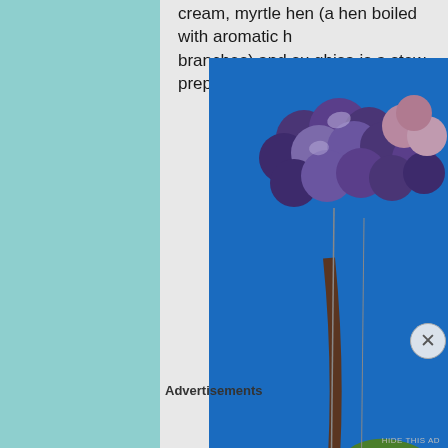cream, myrtle hen (a hen boiled with aromatic h branches) and su ghisa is a stew prepared with d
[Figure (photo): Close-up photo looking up at a cluster of dark purple/blue grapes hanging on a vine with green grape leaves, against a bright blue sky background.]
Advertisements